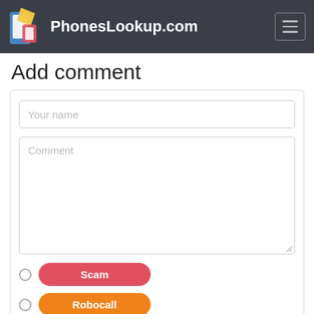PhonesLookup.com
Add comment
Your name
Comment
Scam
Robocall